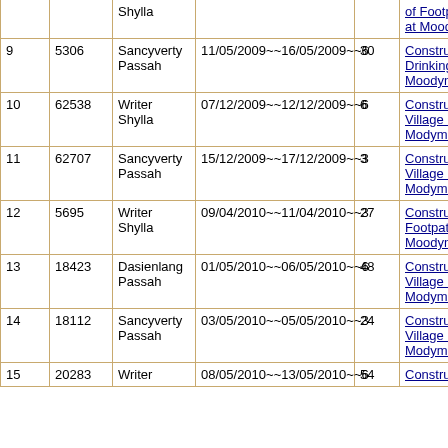| # | ID | Name | Date Range | Days | Description |
| --- | --- | --- | --- | --- | --- |
|  |  | Shylla | ~~ |  | of Footpath Road at Moodymmai |
| 9 | 5306 | Sancyverty Passah | 11/05/2009~~16/05/2009~~6 | 30 | Construction of Drinking Well at Moodymmai |
| 10 | 62538 | Writer Shylla | 07/12/2009~~12/12/2009~~6 | 6 | Construction of Village Road at Modymmai |
| 11 | 62707 | Sancyverty Passah | 15/12/2009~~17/12/2009~~3 | 3 | Construction of Village Road at Modymmai |
| 12 | 5695 | Writer Shylla | 09/04/2010~~11/04/2010~~3 | 27 | Construction of Footpath at Moodymmai |
| 13 | 18423 | Dasienlang Passah | 01/05/2010~~06/05/2010~~6 | 48 | Construction of Village Road at Modymmai |
| 14 | 18112 | Sancyverty Passah | 03/05/2010~~05/05/2010~~3 | 24 | Construction of Village Road at Modymmai |
| 15 | 20283 | Writer | 08/05/2010~~13/05/2010~~6 | 54 | Construction |